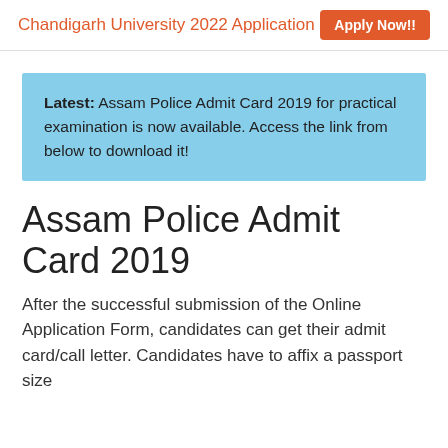Chandigarh University 2022 Application   Apply Now!!
Latest: Assam Police Admit Card 2019 for practical examination is now available. Access the link from below to download it!
Assam Police Admit Card 2019
After the successful submission of the Online Application Form, candidates can get their admit card/call letter. Candidates have to affix a passport size